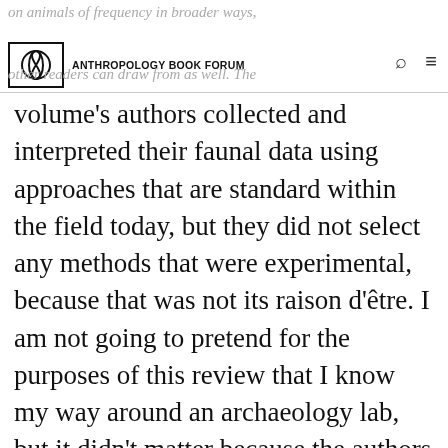on animals of frequency in broader ways, much here that other readers can draw from as well. The
volume's authors collected and interpreted their faunal data using approaches that are standard within the field today, but they did not select any methods that were experimental, because that was not its raison d'être. I am not going to pretend for the purposes of this review that I know my way around an archaeology lab, but it didn't matter because the authors do not exclude non